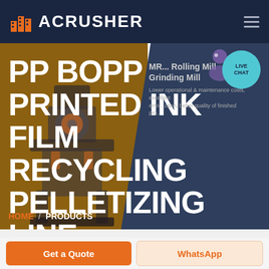ACRUSHER
PP BOPP PRINTED INK FILM RECYCLING PELLETIZING LINE
MR... Rolling Mill
Grinding Mill
Lower operational & maintenance costs, excellent ... ction, better quality of finished pro...
HOME / PRODUCTS
Get a Quote
WhatsApp